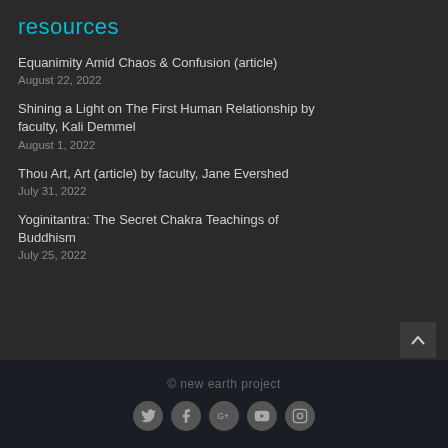resources
Equanimity Amid Chaos & Confusion (article)
August 22, 2022
Shining a Light on The First Human Relationship by faculty, Kali Demmel
August 1, 2022
Thou Art, Art (article) by faculty, Jane Evershed
July 31, 2022
Yoginitantra: The Secret Chakra Teachings of Buddhism
July 25, 2022
© new earth project